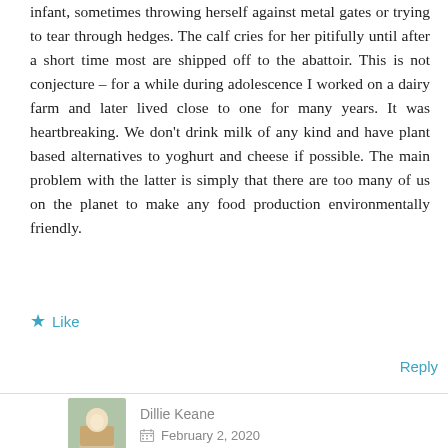infant, sometimes throwing herself against metal gates or trying to tear through hedges. The calf cries for her pitifully until after a short time most are shipped off to the abattoir. This is not conjecture – for a while during adolescence I worked on a dairy farm and later lived close to one for many years. It was heartbreaking. We don't drink milk of any kind and have plant based alternatives to yoghurt and cheese if possible. The main problem with the latter is simply that there are too many of us on the planet to make any food production environmentally friendly.
★ Like
Reply
[Figure (photo): Small profile photo of commenter Dillie Keane]
Dillie Keane
February 2, 2020